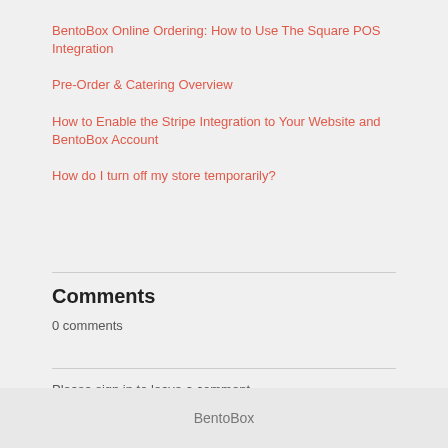BentoBox Online Ordering: How to Use The Square POS Integration
Pre-Order & Catering Overview
How to Enable the Stripe Integration to Your Website and BentoBox Account
How do I turn off my store temporarily?
Comments
0 comments
Please sign in to leave a comment.
BentoBox